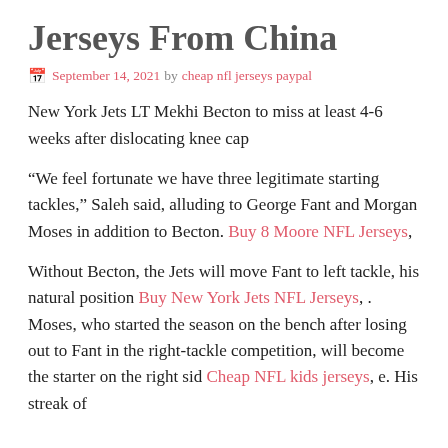Jerseys From China
September 14, 2021 by cheap nfl jerseys paypal
New York Jets LT Mekhi Becton to miss at least 4-6 weeks after dislocating knee cap
“We feel fortunate we have three legitimate starting tackles,” Saleh said, alluding to George Fant and Morgan Moses in addition to Becton. Buy 8 Moore NFL Jerseys,
Without Becton, the Jets will move Fant to left tackle, his natural position Buy New York Jets NFL Jerseys, . Moses, who started the season on the bench after losing out to Fant in the right-tackle competition, will become the starter on the right sid Cheap NFL kids jerseys, e. His streak of